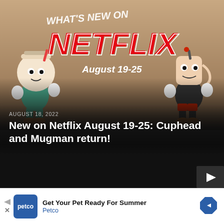[Figure (screenshot): Promotional banner image for Netflix showing cartoon characters Cuphead and Mugman with text 'What's New on NETFLIX August 19-25' in red and white letters on an animated background]
AUGUST 18, 2022
New on Netflix August 19-25: Cuphead and Mugman return!
[Figure (screenshot): Dark video player area with a small play button icon visible in the lower right corner]
Get Your Pet Ready For Summer Petco